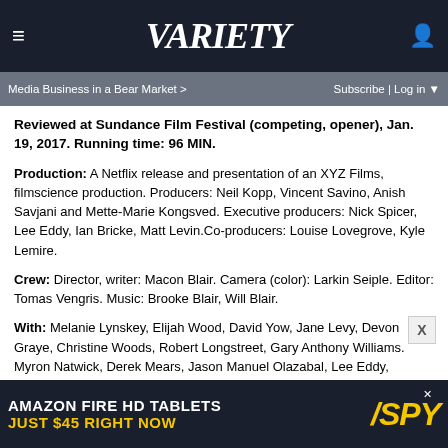VARIETY — Media Business in a Bear Market > | Subscribe | Log in
Reviewed at Sundance Film Festival (competing, opener), Jan. 19, 2017. Running time: 96 MIN.
Production: A Netflix release and presentation of an XYZ Films, filmscience production. Producers: Neil Kopp, Vincent Savino, Anish Savjani and Mette-Marie Kongsved. Executive producers: Nick Spicer, Lee Eddy, Ian Bricke, Matt Levin. Co-producers: Louise Lovegrove, Kyle Lemire.
Crew: Director, writer: Macon Blair. Camera (color): Larkin Seiple. Editor: Tomas Vengris. Music: Brooke Blair, Will Blair.
With: Melanie Lynskey, Elijah Wood, David Yow, Jane Levy, Devon Graye, Christine Woods, Robert Longstreet, Gary Anthony Williams. Myron Natwick, Derek Mears, Jason Manuel Olazabal, Lee Eddy,
[Figure (screenshot): Amazon Fire HD Tablets advertisement banner — 'AMAZON FIRE HD TABLETS JUST $45 RIGHT NOW' with SPY logo]